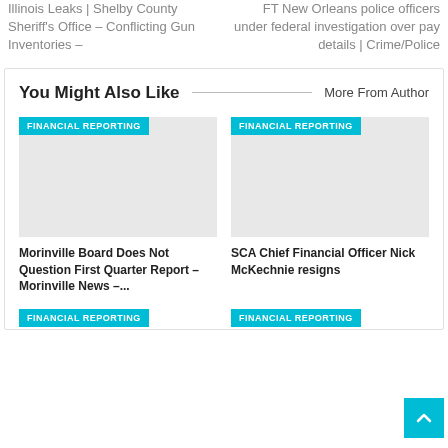Illinois Leaks | Shelby County Sheriff's Office – Conflicting Gun Inventories –
FT New Orleans police officers under federal investigation over pay details | Crime/Police
You Might Also Like
More From Author
[Figure (illustration): Article card placeholder image with FINANCIAL REPORTING badge]
Morinville Board Does Not Question First Quarter Report – Morinville News –...
[Figure (illustration): Article card placeholder image with FINANCIAL REPORTING badge]
SCA Chief Financial Officer Nick McKechnie resigns
FINANCIAL REPORTING
FINANCIAL REPORTING